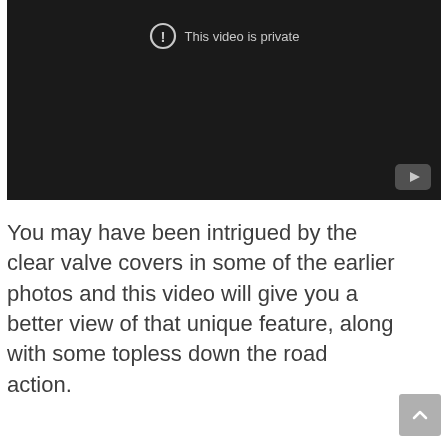[Figure (screenshot): Embedded video player showing a private video message. Black background with an exclamation circle icon and text 'This video is private'. YouTube logo in bottom-right corner.]
You may have been intrigued by the clear valve covers in some of the earlier photos and this video will give you a better view of that unique feature, along with some topless down the road action.